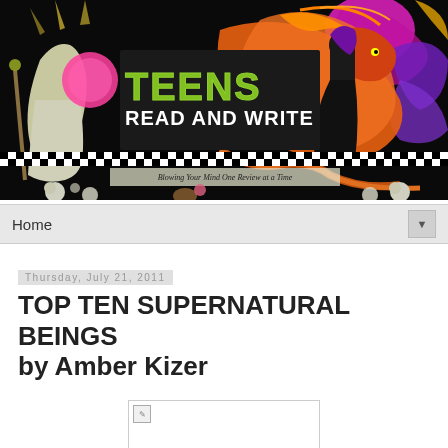[Figure (illustration): Teens Read and Write blog banner. Black background with colorful fantasy characters including a hooded wizard figure on the left, a large orange/red dragon in the center-right, a stylized dark female figure, and swirling purple/magenta decorative elements. Green grunge text reads 'TEENS READ AND WRITE' with tagline 'Blowing Your Mind One Review at a Time'. Checkered border at the bottom of the black section. Skulls and floral decorations at the bottom corners.]
Home
Thursday, July 21, 2011
TOP TEN SUPERNATURAL BEINGS by Amber Kizer
[Figure (photo): Broken/missing image placeholder (book cover image that failed to load)]